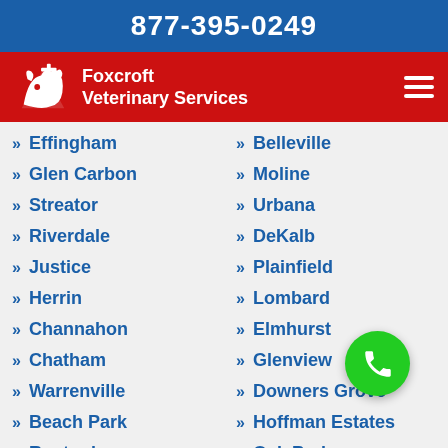877-395-0249
Foxcroft Veterinary Services
Effingham
Belleville
Glen Carbon
Moline
Streator
Urbana
Riverdale
DeKalb
Justice
Plainfield
Herrin
Lombard
Channahon
Elmhurst
Chatham
Glenview
Warrenville
Downers Grove
Beach Park
Hoffman Estates
Rantoul
Oak Park
Western Springs
Wheaton